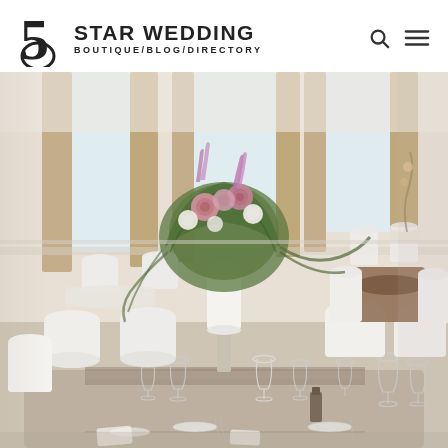5 STAR WEDDING BOUTIQUE/BLOG/DIRECTORY
[Figure (photo): Elegant wedding reception hall interior with white chair covers, round tables set with glassware and cutlery on patterned table runners, and a tall floral arrangement centerpiece with pink, white and green flowers in a white vase. Large windows with beige/taupe curtains in the background.]